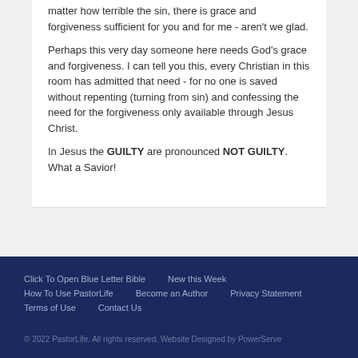matter how terrible the sin, there is grace and forgiveness sufficient for you and for me - aren't we glad.
Perhaps this very day someone here needs God's grace and forgiveness. I can tell you this, every Christian in this room has admitted that need - for no one is saved without repenting (turning from sin) and confessing the need for the forgiveness only available through Jesus Christ.
In Jesus the GUILTY are pronounced NOT GUILTY. What a Savior!
Click To Open Blue Letter Bible   New this Week   How To Use PastorLife   Become an Author   Privacy Statement   Terms of Use   Contact Us   © 2022 PastorLife. All rights reserved. Website Designed by PowerServe